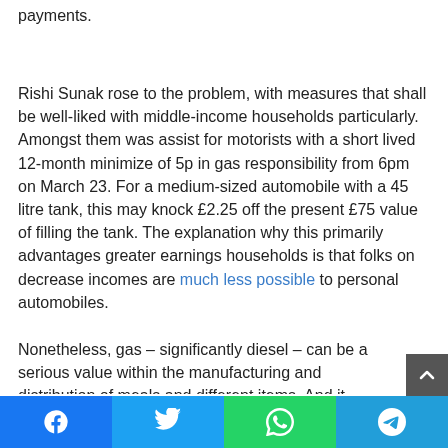payments.
Rishi Sunak rose to the problem, with measures that shall be well-liked with middle-income households particularly. Amongst them was assist for motorists with a short lived 12-month minimize of 5p in gas responsibility from 6pm on March 23. For a medium-sized automobile with a 45 litre tank, this may knock £2.25 off the present £75 value of filling the tank. The explanation why this primarily advantages greater earnings households is that folks on decrease incomes are much less possible to personal automobiles.
Nonetheless, gas – significantly diesel – can be a serious value within the manufacturing and distribution of meals and different items. And it impacts on the price of working public transport, corresponding to buses. So, not directly, the
Facebook Twitter WhatsApp Telegram